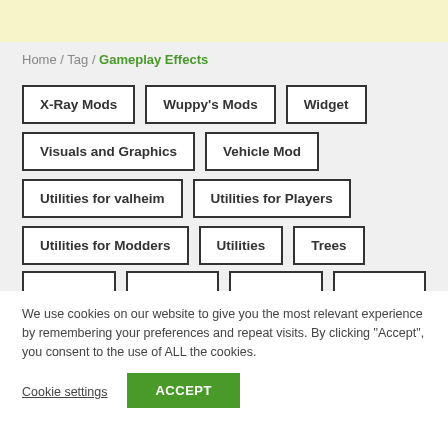Home / Tag / Gameplay Effects
X-Ray Mods
Wuppy's Mods
Widget
Visuals and Graphics
Vehicle Mod
Utilities for valheim
Utilities for Players
Utilities for Modders
Utilities
Trees
We use cookies on our website to give you the most relevant experience by remembering your preferences and repeat visits. By clicking "Accept", you consent to the use of ALL the cookies.
Cookie settings   ACCEPT